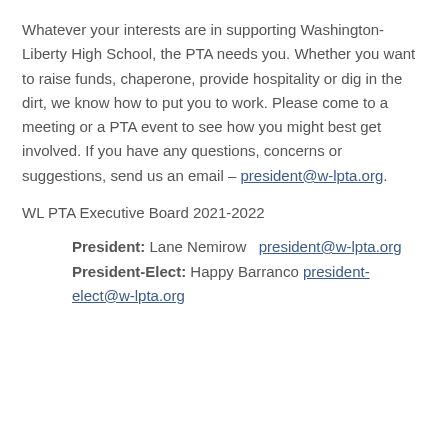Whatever your interests are in supporting Washington-Liberty High School, the PTA needs you. Whether you want to raise funds, chaperone, provide hospitality or dig in the dirt, we know how to put you to work. Please come to a meeting or a PTA event to see how you might best get involved. If you have any questions, concerns or suggestions, send us an email – president@w-lpta.org.
WL PTA Executive Board 2021-2022
President: Lane Nemirow   president@w-lpta.org
President-Elect: Happy Barranco president-elect@w-lpta.org